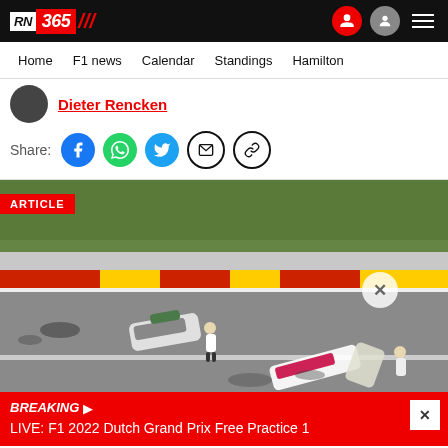RN 365 — navigation header with logo, mic icon, user icon, hamburger menu
Home | F1 news | Calendar | Standings | Hamilton
Dieter Rencken
Share: [Facebook] [WhatsApp] [Twitter] [Email] [Link]
[Figure (photo): Racing crash scene at Spa-Francorchamps circuit showing overturned Formula cars on track with red/yellow/white kerbs and green trees in background. An ARTICLE badge appears top-left and a close X button appears mid-right.]
BREAKING
LIVE: F1 2022 Dutch Grand Prix Free Practice 1